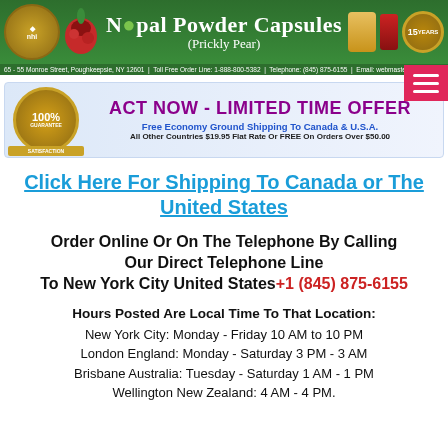Nopal Powder Capsules (Prickly Pear)
65 - 55 Monroe Street, Poughkeepsie, NY 12601 | Toll Free Order Line: 1-888-800-5382 | Telephone: (845) 875-6155 | Email: webmaster@naturalhor
[Figure (infographic): ACT NOW - LIMITED TIME OFFER promo banner with 100% guarantee badge, free economy ground shipping text for Canada & U.S.A.]
Click Here For Shipping To Canada or The United States
Order Online Or On The Telephone By Calling Our Direct Telephone Line To New York City United States+1 (845) 875-6155
Hours Posted Are Local Time To That Location: New York City: Monday - Friday 10 AM to 10 PM London England: Monday - Saturday 3 PM - 3 AM Brisbane Australia: Tuesday - Saturday 1 AM - 1 PM Wellington New Zealand: 4 AM - 4 PM.